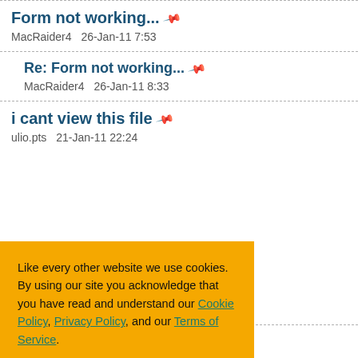Form not working...
MacRaider4   26-Jan-11 7:53
Re: Form not working...
MacRaider4   26-Jan-11 8:33
i cant view this file
ulio.pts   21-Jan-11 22:24
Like every other website we use cookies. By using our site you acknowledge that you have read and understand our Cookie Policy, Privacy Policy, and our Terms of Service. Learn more
Re: The joys of PHP mail()